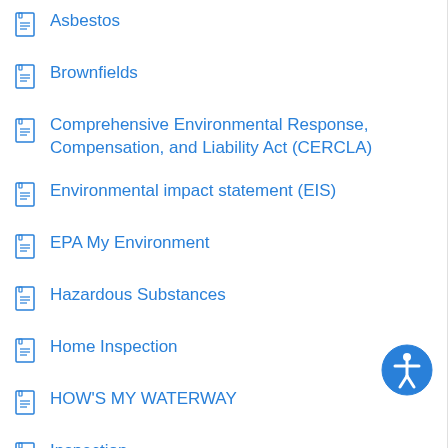Asbestos
Brownfields
Comprehensive Environmental Response, Compensation, and Liability Act (CERCLA)
Environmental impact statement (EIS)
EPA My Environment
Hazardous Substances
Home Inspection
HOW'S MY WATERWAY
Inspection
Inspection report
Landfills or waste disposal sites
Lead